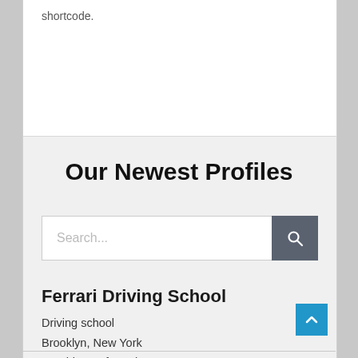shortcode.
Our Newest Profiles
[Figure (screenshot): Search input bar with placeholder text 'Search...' and a dark gray search button with magnifying glass icon]
Ferrari Driving School
Driving school
Brooklyn, New York
Teaching Safety Since 1968